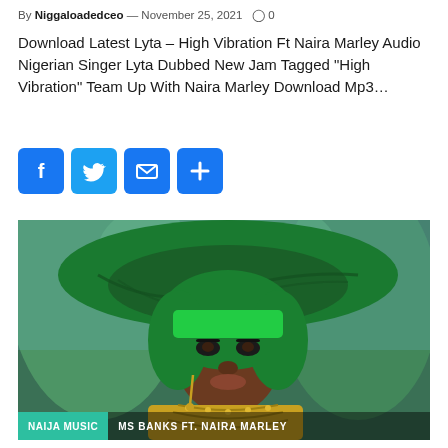By Niggaloadedceo — November 25, 2021  ○ 0
Download Latest Lyta – High Vibration Ft Naira Marley Audio Nigerian Singer Lyta Dubbed New Jam Tagged "High Vibration" Team Up With Naira Marley Download Mp3…
[Figure (infographic): Social sharing buttons: Facebook (blue), Twitter (blue), Mail (blue), Plus/More (blue)]
[Figure (photo): Woman with green hair and green wide-brim hat, wearing gold beaded costume. Overlay text: NAIJA MUSIC | MS BANKS FT. NAIRA MARLEY]